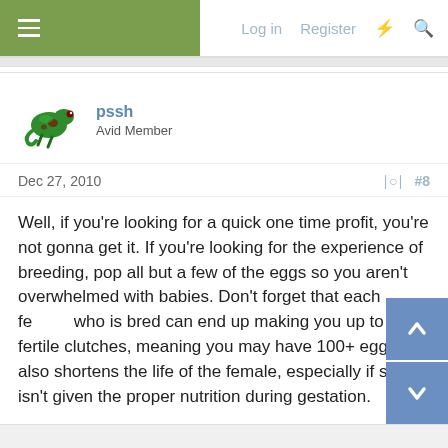Log in   Register
pssh
Avid Member
Dec 27, 2010   #8
Well, if you're looking for a quick one time profit, you're not gonna get it. If you're looking for the experience of breeding, pop all but a few of the eggs so you aren't overwhelmed with babies. Don't forget that each female who is bred can end up making you up to 3 fertile clutches, meaning you may have 100+ eggs. It also shortens the life of the female, especially if she isn't given the proper nutrition during gestation.